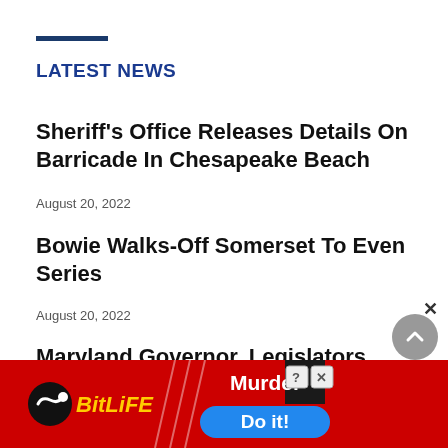LATEST NEWS
Sheriff’s Office Releases Details On Barricade In Chesapeake Beach
August 20, 2022
Bowie Walks-Off Somerset To Even Series
August 20, 2022
Maryland Governor, Legislators Receive 2022 Open Space Awards
August 20, 2022
[Figure (infographic): BitLife advertisement banner with red background, BitLife logo on left, diagonal slash lines, and Murder/Do it! call to action on the right side]